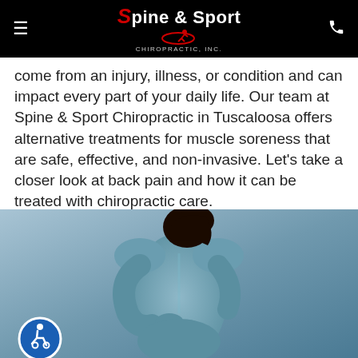Spine & Sport Chiropractic, Inc.
come from an injury, illness, or condition and can impact every part of your daily life. Our team at Spine & Sport Chiropractic in Tuscaloosa offers alternative treatments for muscle soreness that are safe, effective, and non-invasive. Let's take a closer look at back pain and how it can be treated with chiropractic care.
[Figure (photo): A person viewed from behind, holding their lower back in pain, with a reddish glow at the lower back area indicating pain, against a blue-grey background. An accessibility badge (wheelchair icon) is visible in the lower left corner.]